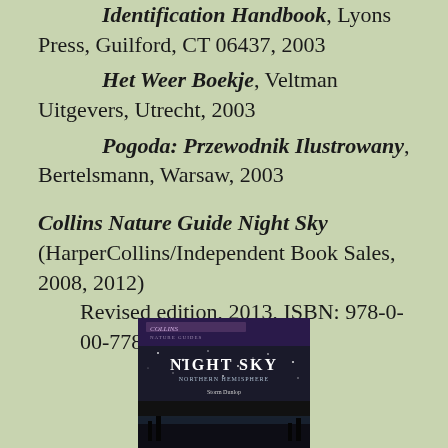Identification Handbook, Lyons Press, Guilford, CT 06437, 2003
Het Weer Boekje, Veltman Uitgevers, Utrecht, 2003
Pogoda: Przewodnik Ilustrowany, Bertelsmann, Warsaw, 2003
Collins Nature Guide Night Sky (HarperCollins/Independent Book Sales, 2008, 2012) Revised edition, 2013, ISBN: 978-0-00-778537-7
[Figure (photo): Book cover of Collins Nature Guide Night Sky showing a dark cover with 'NIGHT SKY' text and starfield imagery]